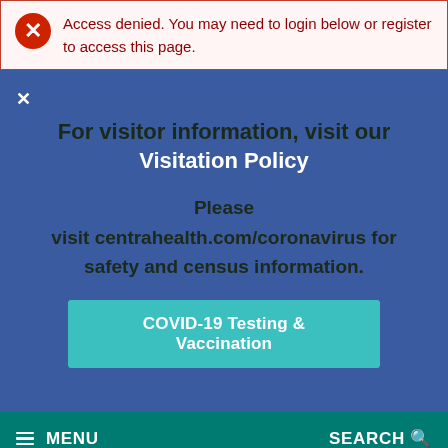Access denied. You may need to login below or register to access this page.
×
For visitor information, visit our Visitation Policy
Please visit centrahealth.com/coronavirus for safety and census information.
COVID-19 Testing & Vaccination
≡ MENU    SEARCH fl
[Figure (logo): Centra Health circular logo with wave design in teal and blue]